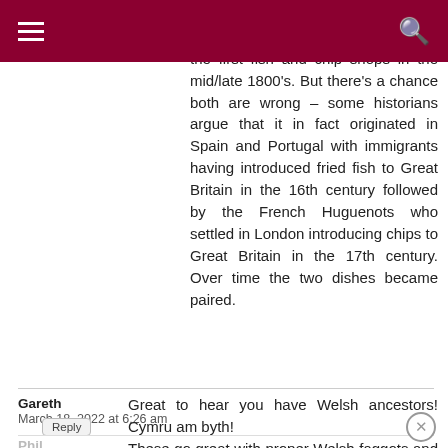Navigation header with hamburger menu and search icon
have been London and Lancashire with both claiming to have opened the first fish and chip shops in the mid/late 1800's. But there's a chance both are wrong – some historians argue that it in fact originated in Spain and Portugal with immigrants having introduced fried fish to Great Britain in the 16th century followed by the French Huguenots who settled in London introducing chips to Great Britain in the 17th century. Over time the two dishes became paired.
Gareth
March 18, 2022 at 6:26 am
Great to hear you have Welsh ancestors! Cymru am byth!
These go great with proper Welsh faggots and onion gravy.
Phil
November 2, 2021 at 10:29 pm